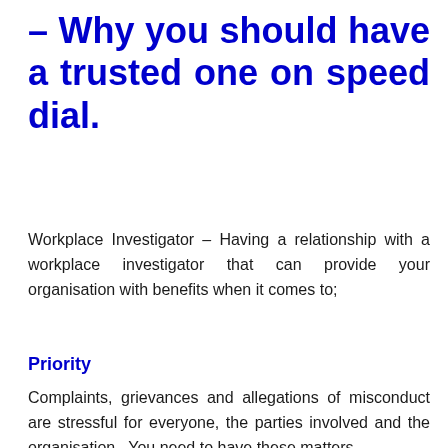– Why you should have a trusted one on speed dial.
Workplace Investigator – Having a relationship with a workplace investigator that can provide your organisation with benefits when it comes to;
Priority
Complaints, grievances and allegations of misconduct are stressful for everyone, the parties involved and the organisation. You need to have these matters